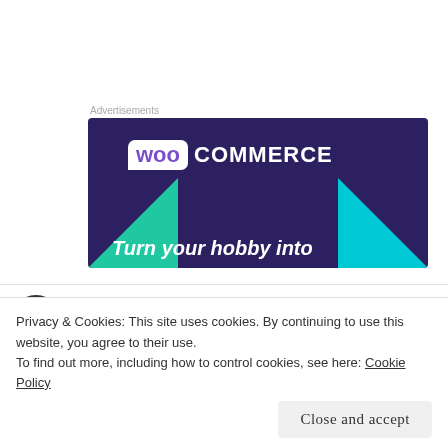Advertisements
[Figure (illustration): WooCommerce advertisement banner with purple background, WooCommerce logo (white woo bubble + COMMERCE text), teal and cyan triangles, and tagline 'Turn your hobby into']
Nomzi Kumalo
Privacy & Cookies: This site uses cookies. By continuing to use this website, you agree to their use.
To find out more, including how to control cookies, see here: Cookie Policy
Close and accept
Like